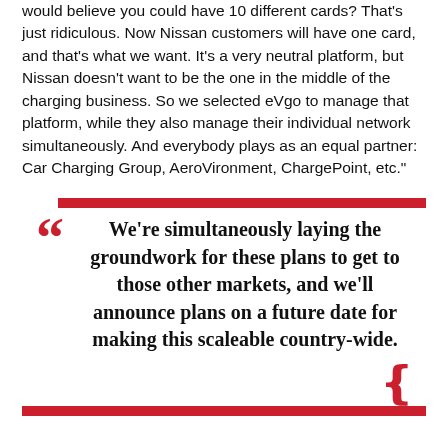would believe you could have 10 different cards? That's just ridiculous. Now Nissan customers will have one card, and that's what we want. It's a very neutral platform, but Nissan doesn't want to be the one in the middle of the charging business. So we selected eVgo to manage that platform, while they also manage their individual network simultaneously. And everybody plays as an equal partner: Car Charging Group, AeroVironment, ChargePoint, etc."
We're simultaneously laying the groundwork for these plans to get to those other markets, and we'll announce plans on a future date for making this scaleable country-wide.